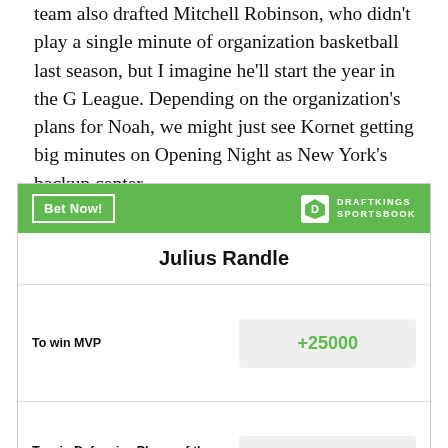team also drafted Mitchell Robinson, who didn't play a single minute of organization basketball last season, but I imagine he'll start the year in the G League. Depending on the organization's plans for Noah, we might just see Kornet getting big minutes on Opening Night as New York's backup center.
| Julius Randle |  |
| --- | --- |
| To win MVP | +25000 |
| To win Defensive Player of the Year | +90000 |